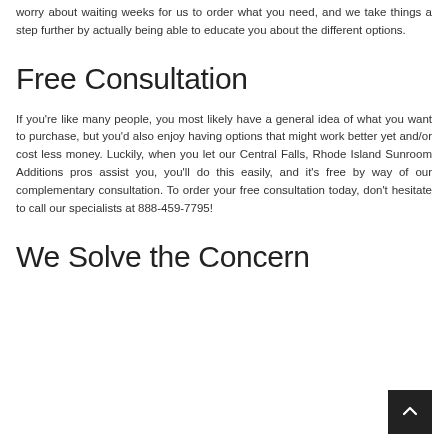worry about waiting weeks for us to order what you need, and we take things a step further by actually being able to educate you about the different options.
Free Consultation
If you're like many people, you most likely have a general idea of what you want to purchase, but you'd also enjoy having options that might work better yet and/or cost less money. Luckily, when you let our Central Falls, Rhode Island Sunroom Additions pros assist you, you'll do this easily, and it's free by way of our complementary consultation. To order your free consultation today, don't hesitate to call our specialists at 888-459-7795!
We Solve the Concern